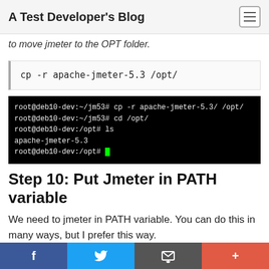A Test Developer's Blog
to move jmeter to the OPT folder.
cp -r apache-jmeter-5.3 /opt/
[Figure (screenshot): Terminal screenshot showing commands: root@deb10-dev:~/jm53# cp -r apache-jmeter-5.3/ /opt/ | root@deb10-dev:~/jm53# cd /opt/ | root@deb10-dev:/opt# ls | apache-jmeter-5.3 | root@deb10-dev:/opt#]
Step 10: Put Jmeter in PATH variable
We need to jmeter in PATH variable. You can do this in many ways, but I prefer this way.
f  [twitter bird]  [email icon]  +